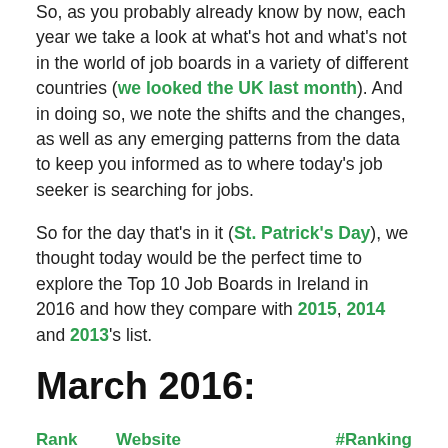So, as you probably already know by now, each year we take a look at what's hot and what's not in the world of job boards in a variety of different countries (we looked the UK last month). And in doing so, we note the shifts and the changes, as well as any emerging patterns from the data to keep you informed as to where today's job seeker is searching for jobs.
So for the day that's in it (St. Patrick's Day), we thought today would be the perfect time to explore the Top 10 Job Boards in Ireland in 2016 and how they compare with 2015, 2014 and 2013's list.
March 2016:
| Rank | Website | #Ranking |
| --- | --- | --- |
| 1. | Indeed.ie | #60 |